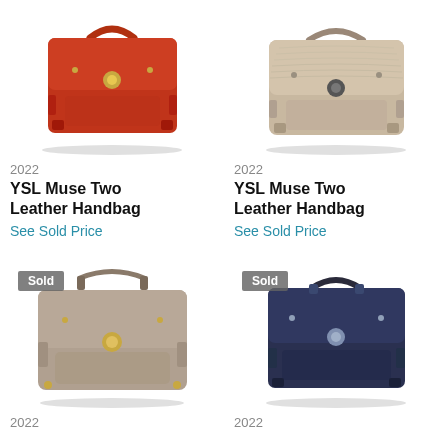[Figure (photo): YSL Muse Two Leather Handbag in red/orange color, top handle, flap closure with gold turn-lock]
[Figure (photo): YSL Muse Two Leather Handbag in beige/taupe color, top handle, flap closure with dark turn-lock]
2022
2022
YSL Muse Two Leather Handbag
YSL Muse Two Leather Handbag
See Sold Price
See Sold Price
[Figure (photo): YSL Muse Two Leather Handbag in taupe/tan color with Sold badge, shoulder strap, flap closure with gold turn-lock]
[Figure (photo): YSL Muse Two Leather Handbag in navy/dark blue color with Sold badge, top handle, flap closure with silver turn-lock]
2022
2022